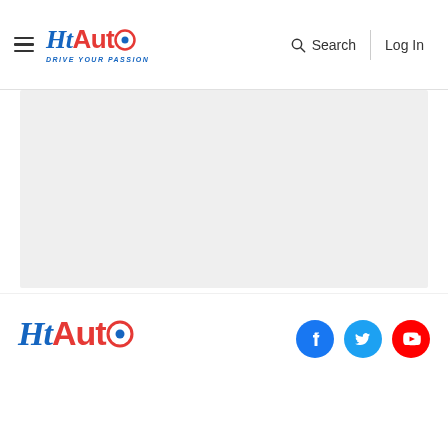HT Auto - Drive Your Passion | Search | Log In
[Figure (other): Light grey rectangular placeholder image area]
HT Auto logo with social media icons (Facebook, Twitter, YouTube)